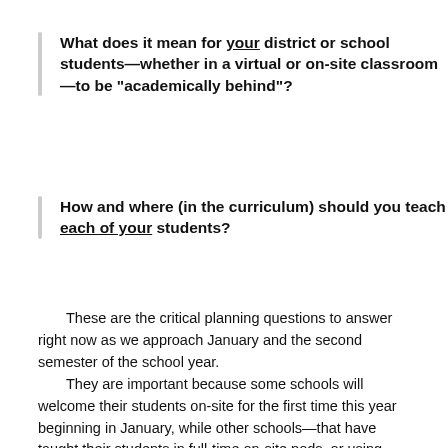What does it mean for your district or school students—whether in a virtual or on-site classroom—to be "academically behind"?
How and where (in the curriculum) should you teach each of your students?
These are the critical planning questions to answer right now as we approach January and the second semester of the school year.
They are important because some schools will welcome their students on-site for the first time this year beginning in January, while other schools—that have taught their students in full-time on-site pods, or using half-time